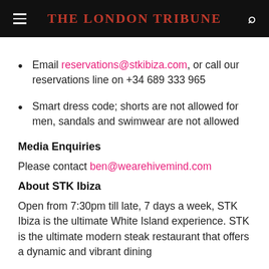The London Tribune
Email reservations@stkibiza.com, or call our reservations line on +34 689 333 965
Smart dress code; shorts are not allowed for men, sandals and swimwear are not allowed
Media Enquiries
Please contact ben@wearehivemind.com
About STK Ibiza
Open from 7:30pm till late, 7 days a week, STK Ibiza is the ultimate White Island experience. STK is the ultimate modern steak restaurant that offers a dynamic and vibrant dining